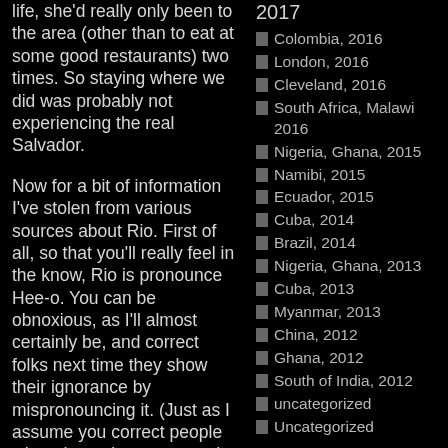life, she'd really only been to the area (other than to eat at some good restaurants) two times. So staying where we did was probably not experiencing the real Salvador.
Now for a bit of information I've stolen from various sources about Rio. First of all, so that you'll really feel in the know, Rio is pronounce Hee-o. You can be obnoxious, as I'll almost certainly be, and correct folks next time they show their ignorance by mispronouncing it. (Just as I assume you correct people when they mispronounce the Spanish city of Barthelona.)
.
Rio is the capital city of the State of Rio de Janeiro, the second largest city of Brazil,
2017
Colombia, 2016
London, 2016
Cleveland, 2016
South Africa, Malawi 2016
Nigeria, Ghana, 2015
Namibi, 2015
Ecuador, 2015
Cuba, 2014
Brazil, 2014
Nigeria, Ghana, 2013
Cuba, 2013
Myanmar, 2013
China, 2012
Ghana, 2012
South of India, 2012
uncategorized
Uncategorized